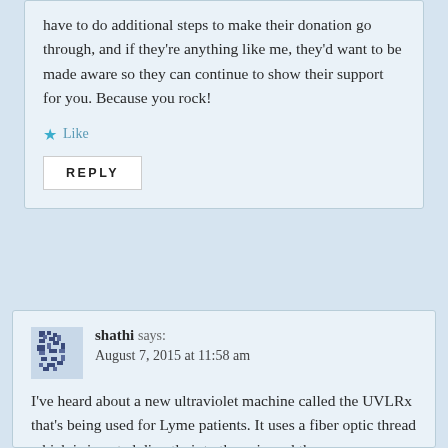have to do additional steps to make their donation go through, and if they're anything like me, they'd want to be made aware so they can continue to show their support for you. Because you rock!
★ Like
REPLY
shathi says:
August 7, 2015 at 11:58 am
I've heard about a new ultraviolet machine called the UVLRx that's being used for Lyme patients. It uses a fiber optic thread which is inserted directly into the vein and the treatment lasts for an hour so all the blood